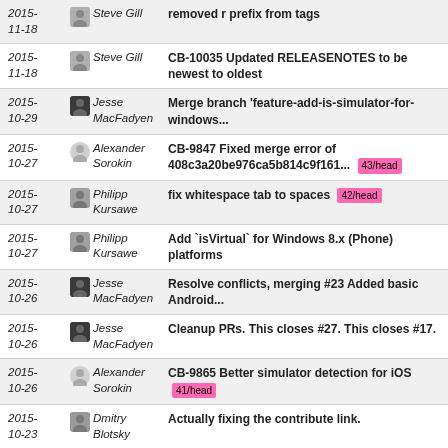| Date | Author | Message |
| --- | --- | --- |
| 2015-11-18 | Steve Gill | removed r prefix from tags |
| 2015-11-18 | Steve Gill | CB-10035 Updated RELEASENOTES to be newest to oldest |
| 2015-10-29 | Jesse MacFadyen | Merge branch 'feature-add-is-simulator-for-windows... |
| 2015-10-27 | Alexander Sorokin | CB-9847 Fixed merge error of 408c3a20be976ca5b814c9f161... 43/head |
| 2015-10-27 | Philipp Kursawe | fix whitespace tab to spaces 42/head |
| 2015-10-27 | Philipp Kursawe | Add `isVirtual` for Windows 8.x (Phone) platforms |
| 2015-10-26 | Jesse MacFadyen | Resolve conflicts, merging #23 Added basic Android... |
| 2015-10-26 | Jesse MacFadyen | Cleanup PRs. This closes #27. This closes #17. |
| 2015-10-26 | Alexander Sorokin | CB-9865 Better simulator detection for iOS 41/head |
| 2015-10-23 | Dmitry Blotsky | Actually fixing the contribute link. |